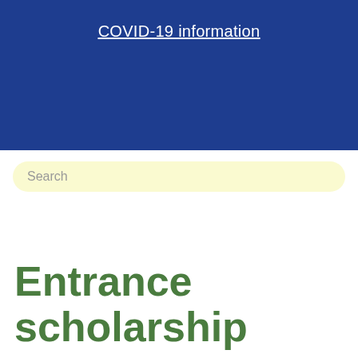COVID-19 information
Search
Entrance scholarship